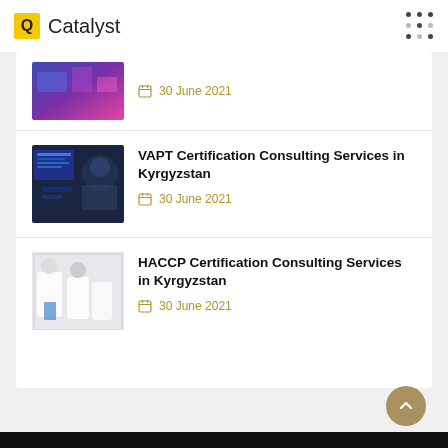Q Catalyst
30 June 2021
VAPT Certification Consulting Services in Kyrgyzstan — 30 June 2021
HACCP Certification Consulting Services in Kyrgyzstan — 30 June 2021